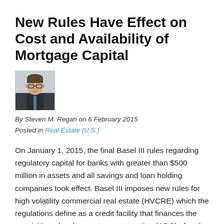New Rules Have Effect on Cost and Availability of Mortgage Capital
[Figure (photo): Headshot photo of Steven M. Regan, a man wearing glasses and a dark suit with a tie.]
By Steven M. Regan on 6 February 2015
Posted in Real Estate (U.S.)
On January 1, 2015, the final Basel III rules regarding regulatory capital for banks with greater than $500 million in assets and all savings and loan holding companies took effect. Basel III imposes new rules for high volatility commercial real estate (HVCRE) which the regulations define as a credit facility that finances the acquisition, development or construction (ADC) of real property. The HVCRE rules may affect the availability and pricing of commercial real estate mortgage capital.